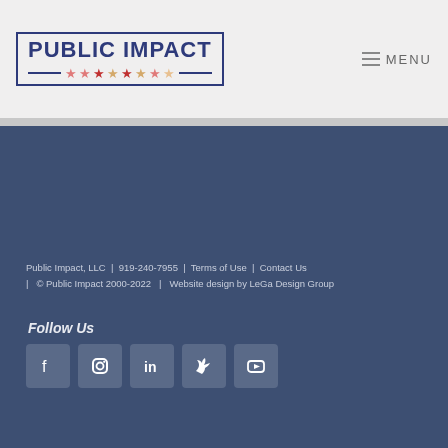[Figure (logo): Public Impact logo with blue border, uppercase text, decorative stars strip, and two blue horizontal lines]
≡ MENU
Public Impact, LLC  |  919-240-7955  |  Terms of Use  |  Contact Us  |  © Public Impact 2000-2022  |  Website design by LeGa Design Group
Follow Us
[Figure (infographic): Row of five social media icons: Facebook, Instagram, LinkedIn, Twitter, YouTube]